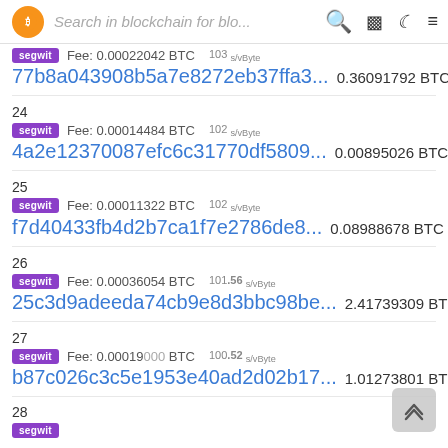Search in blockchain for blo...
segwit  Fee: 0.00022042 BTC  103 s/vByte  77b8a043908b5a7e8272eb37ffa3...  0.36091792 BTC
24  segwit  Fee: 0.00014484 BTC  102 s/vByte  4a2e12370087efc6c31770df5809...  0.00895026 BTC
25  segwit  Fee: 0.00011322 BTC  102 s/vByte  f7d40433fb4d2b7ca1f7e2786de8...  0.08988678 BTC
26  segwit  Fee: 0.00036054 BTC  101.56 s/vByte  25c3d9adeeda74cb9e8d3bbc98be...  2.41739309 BTC
27  segwit  Fee: 0.00019000 BTC  100.52 s/vByte  b87c026c3c5e1953e40ad2d02b17...  1.01273801 BTC
28  segwit  Fee: ...